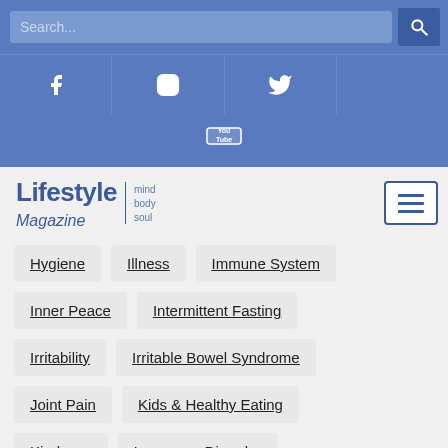Search...
[Figure (screenshot): Social media icons bar: Facebook, Instagram, Twitter, YouTube]
[Figure (logo): Lifestyle Magazine mind body soul logo with hamburger menu button]
Hygiene
Illness
Immune System
Inner Peace
Intermittent Fasting
Irritability
Irritable Bowel Syndrome
Joint Pain
Kids & Healthy Eating
Kindness
Language Disorder
Lifestyle
Lifestyle Change